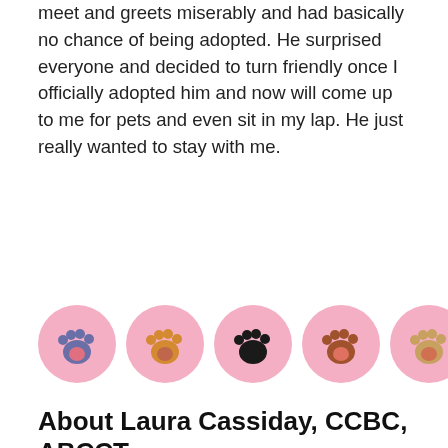meet and greets miserably and had basically no chance of being adopted. He surprised everyone and decided to turn friendly once I officially adopted him and now will come up to me for pets and even sit in my lap. He just really wanted to stay with me.
[Figure (illustration): Six colorful paw print icons arranged in a horizontal row, each on a pink circle background. The paw prints vary in color: purple/blue, orange/gold, black, brown/red, tan/gold, and light/white with red center.]
About Laura Cassiday, CCBC, ABCCT, FFCP
Laura got her start working as the Cat Behavior Coordinator at the Maryland SPCA in Baltimore from 2018